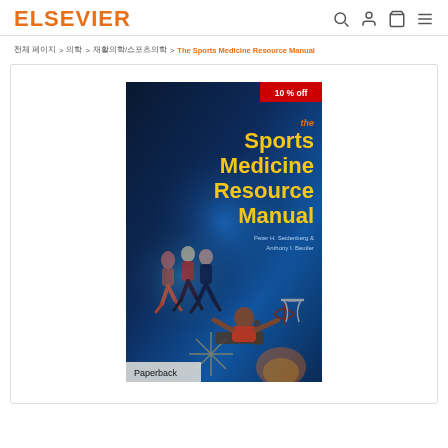ELSEVIER
전체 페이지 > 의학 > 재활의학/스포츠의학 > The Sports Medicine Resource Manual
[Figure (photo): Book cover of 'The Sports Medicine Resource Manual' by Peter H. Seidenberg & Anthony I. Beutler, showing sports athletes including runners and a wheelchair basketball player on a dark blue background. A red '10 % off' badge is in the top right corner and a 'Paperback' label is in the bottom left.]